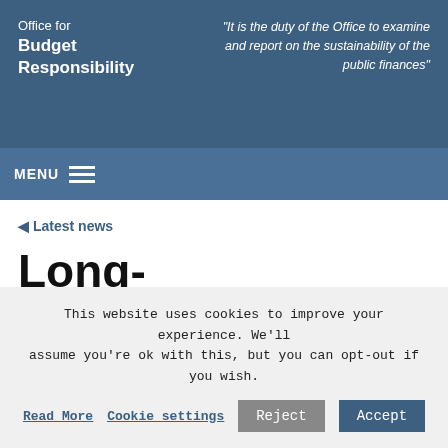Office for Budget Responsibility
"It is the duty of the Office to examine and report on the sustainability of the public finances"
MENU
◄ Latest news
Long-
This website uses cookies to improve your experience. We'll assume you're ok with this, but you can opt-out if you wish.
Read More   Cookie settings   Reject   Accept